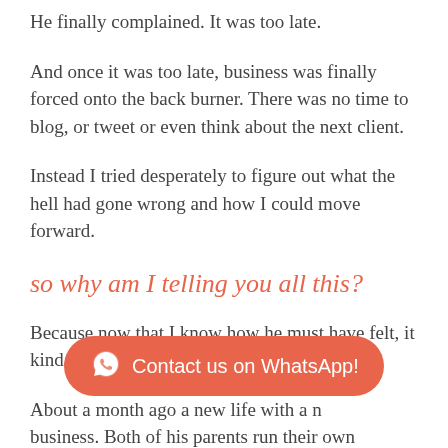He finally complained.  It was too late.
And once it was too late, business was finally forced onto the back burner.  There was no time to blog, or tweet or even think about the next client.
Instead I tried desperately to figure out what the hell had gone wrong and how I could move forward.
so why am I telling you all this?
Because now that I know how he must have felt, it kinda sucks.
About a month ago [text obscured] a new life with a ne[w obscured] business.  Both of his parents run their own
[Figure (other): WhatsApp contact button overlay — salmon/orange rounded rectangle with WhatsApp icon and text 'Contact us on WhatsApp!']